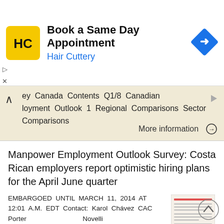[Figure (infographic): Hair Cuttery advertisement banner with logo, text 'Book a Same Day Appointment', subtitle 'Hair Cuttery', and a blue navigation arrow icon]
ey Canada Contents Q1/8 Canadian loyment Outlook 1 Regional Comparisons Sector Comparisons
More information →
Manpower Employment Outlook Survey: Costa Rican employers report optimistic hiring plans for the April June quarter
EMBARGOED UNTIL MARCH 11, 2014 AT 12:01 A.M. EDT Contact: Karol Chávez CAC Porter Novelli kchavez@cacporternovelli.com Phone: + (506) 2205-4114 8341-4372 Manpower Employment Outlook Survey: Costa Rican